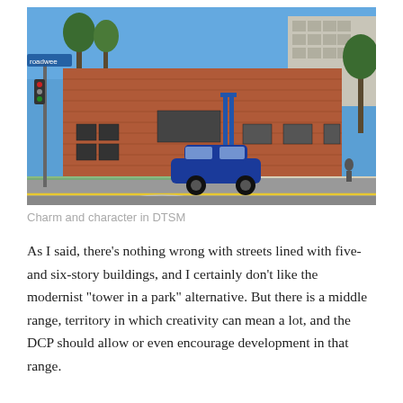[Figure (photo): Street-level photograph of a brick building (likely a school or community center) in Downtown Santa Monica (DTSM). A blue compact car is driving on the road in the foreground. Blue barrels and a blue metal structure are visible near the building. Trees and apartment buildings are visible in the background under a blue sky.]
Charm and character in DTSM
As I said, there’s nothing wrong with streets lined with five- and six-story buildings, and I certainly don’t like the modernist “tower in a park” alternative. But there is a middle range, territory in which creativity can mean a lot, and the DCP should allow or even encourage development in that range.
We’ve seen this recently with the development approved